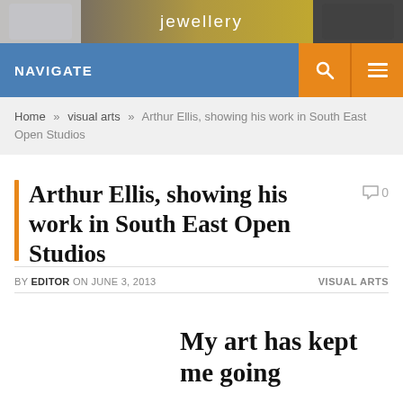[Figure (photo): Website banner image showing jewellery and art objects with text 'jewellery' overlaid]
NAVIGATE
Home » visual arts » Arthur Ellis, showing his work in South East Open Studios
Arthur Ellis, showing his work in South East Open Studios
BY EDITOR ON JUNE 3, 2013    VISUAL ARTS
My art has kept me going